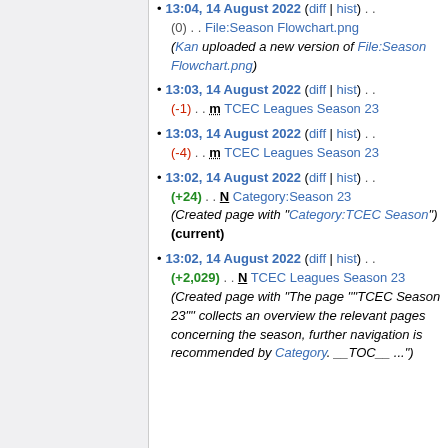13:04, 14 August 2022 (diff | hist) . . (0) . . File:Season Flowchart.png (Kan uploaded a new version of File:Season Flowchart.png)
13:03, 14 August 2022 (diff | hist) . . (-1) . . m TCEC Leagues Season 23
13:03, 14 August 2022 (diff | hist) . . (-4) . . m TCEC Leagues Season 23
13:02, 14 August 2022 (diff | hist) . . (+24) . . N Category:Season 23 (Created page with "Category:TCEC Season") (current)
13:02, 14 August 2022 (diff | hist) . . (+2,029) . . N TCEC Leagues Season 23 (Created page with "The page """TCEC Season 23""" collects an overview the relevant pages concerning the season, further navigation is recommended by Category. __TOC__ ...")